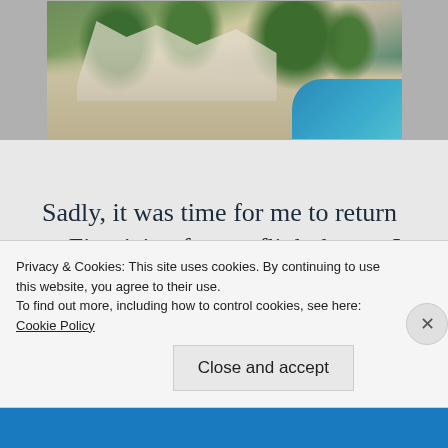[Figure (photo): Aerial or elevated view of a coastal cliff-side location with white buildings, green trees, and blue water visible]
Sadly, it was time for me to return to Fiumicino for my flight home. I took another high speed train and arrived back in Fiumicino in about an hour. I'm a huge beach lover so of course I had
Privacy & Cookies: This site uses cookies. By continuing to use this website, you agree to their use.
To find out more, including how to control cookies, see here:
Cookie Policy
Close and accept